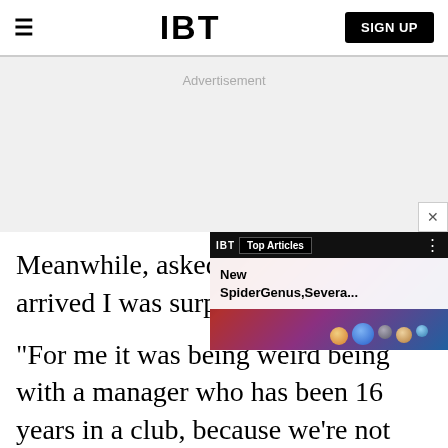IBT | SIGN UP
Advertisement
Meanwhile, asked about W arrived I was surprised for
[Figure (screenshot): IBT widget overlay showing Top Articles with 'New SpiderGenus,Severa...' headline, overlaid on a colorful artistic photo background]
"For me it was being weird being with a manager who has been 16 years in a club, because we're not